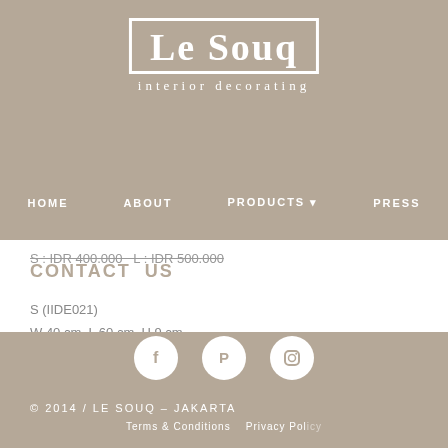[Figure (logo): Le Souq interior decorating logo — white text in a white bordered box on taupe background, with 'interior decorating' beneath in spaced letters]
HOME   ABOUT   PRODUCTS ▾   PRESS
S : IDR 400.000   L : IDR 500.000
CONTACT US
S (IIDE021)
W 40 cm, L 60 cm, H 9 cm
L (IIDE022)
W 50 cm, L 75 cm, H 9 cm
[Figure (illustration): Three white circular social media icons (Facebook, Pinterest, Instagram) on taupe background]
© 2014 / LE SOUQ — JAKARTA
Terms & Conditions   Privacy Policy